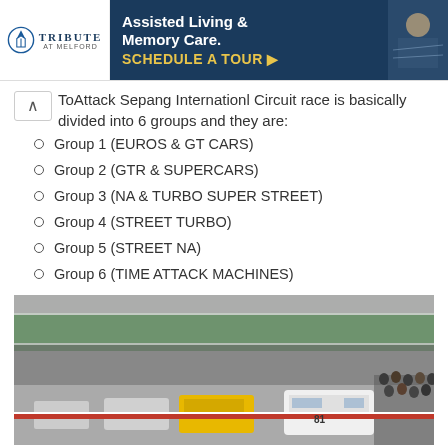[Figure (photo): Advertisement banner for Tribute at Melford Assisted Living & Memory Care with blue background and schedule a tour button]
ToAttack Sepang Internationl Circuit race is basically divided into 6 groups and they are:
Group 1 (EUROS & GT CARS)
Group 2 (GTR & SUPERCARS)
Group 3 (NA & TURBO SUPER STREET)
Group 4 (STREET TURBO)
Group 5 (STREET NA)
Group 6 (TIME ATTACK MACHINES)
[Figure (photo): Photo of racing cars lined up in pit lane at Sepang International Circuit with grandstands in background and crowd of spectators]